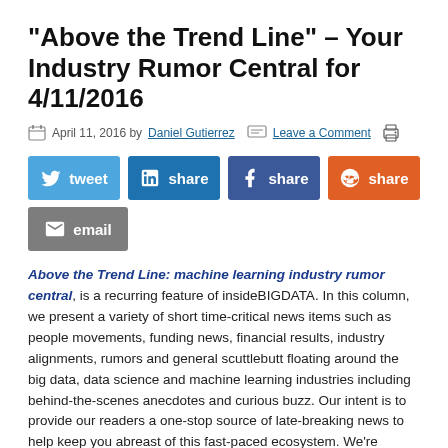“Above the Trend Line” – Your Industry Rumor Central for 4/11/2016
April 11, 2016 by Daniel Gutierrez  Leave a Comment
[Figure (infographic): Social sharing buttons: tweet (Twitter, blue), share (LinkedIn, dark blue), share (Facebook, dark blue), share (Reddit, orange), email (gray)]
Above the Trend Line: machine learning industry rumor central, is a recurring feature of insideBIGDATA. In this column, we present a variety of short time-critical news items such as people movements, funding news, financial results, industry alignments, rumors and general scuttlebutt floating around the big data, data science and machine learning industries including behind-the-scenes anecdotes and curious buzz. Our intent is to provide our readers a one-stop source of late-breaking news to help keep you abreast of this fast-paced ecosystem. We’re working hard on your behalf with our extensive vendor network to give you all the latest happenings. Heard of something yourself? Tell us! Just e-mail me at: daniel